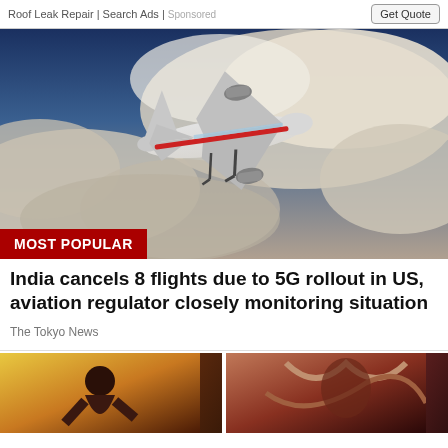Roof Leak Repair | Search Ads | Sponsored   Get Quote
[Figure (photo): Commercial airplane viewed from below, ascending through clouds against a blue sky background. A red 'MOST POPULAR' label overlay appears at the bottom left of the image.]
India cancels 8 flights due to 5G rollout in US, aviation regulator closely monitoring situation
The Tokyo News
[Figure (illustration): Two thumbnail images side by side: left shows an illustrated muscular figure with yellow/orange background, right shows an illustrated figure with reddish/brown tones.]